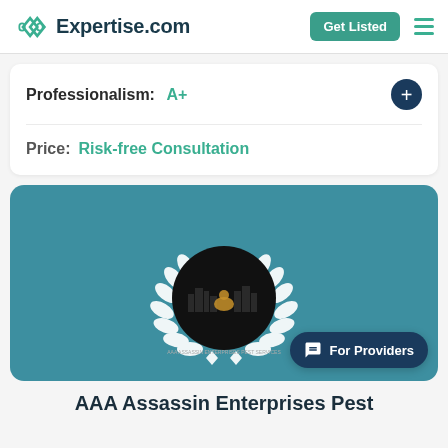Expertise.com | Get Listed
Professionalism: A+
Price: Risk-free Consultation
[Figure (logo): AAA Assassin Enterprises Pest logo inside a black circle with white laurel wreath on teal background]
AAA Assassin Enterprises Pest